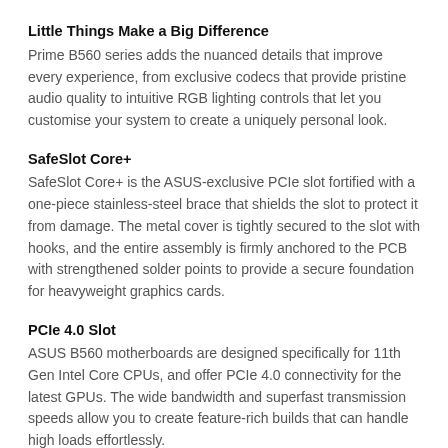Little Things Make a Big Difference
Prime B560 series adds the nuanced details that improve every experience, from exclusive codecs that provide pristine audio quality to intuitive RGB lighting controls that let you customise your system to create a uniquely personal look.
SafeSlot Core+
SafeSlot Core+ is the ASUS-exclusive PCIe slot fortified with a one-piece stainless-steel brace that shields the slot to protect it from damage. The metal cover is tightly secured to the slot with hooks, and the entire assembly is firmly anchored to the PCB with strengthened solder points to provide a secure foundation for heavyweight graphics cards.
PCIe 4.0 Slot
ASUS B560 motherboards are designed specifically for 11th Gen Intel Core CPUs, and offer PCIe 4.0 connectivity for the latest GPUs. The wide bandwidth and superfast transmission speeds allow you to create feature-rich builds that can handle high loads effortlessly.